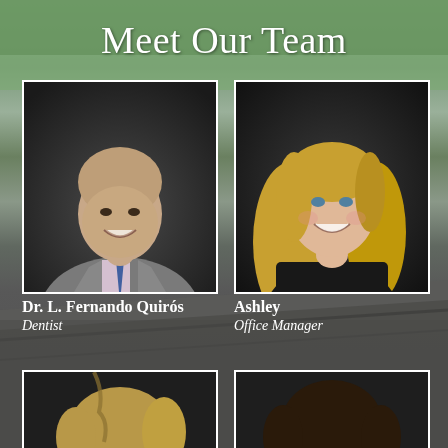Meet Our Team
[Figure (photo): Professional headshot of Dr. L. Fernando Quirós, a man in a gray suit with a blue tie, smiling against a dark background]
Dr. L. Fernando Quirós
Dentist
[Figure (photo): Professional headshot of Ashley, a woman with long blonde hair wearing a black top, smiling against a dark background]
Ashley
Office Manager
[Figure (photo): Partial headshot of a team member (bottom left), woman with braided hair, partially cropped]
[Figure (photo): Partial headshot of a team member (bottom right), woman with dark hair, partially cropped]